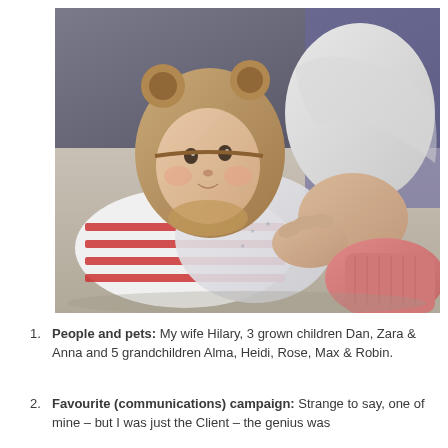[Figure (photo): A baby wearing a brown bear-ear fleece hat and red-striped outfit lying down, being looked at closely by an elderly person with white hair wearing a pink sweater.]
People and pets: My wife Hilary, 3 grown children Dan, Zara & Anna and 5 grandchildren Alma, Heidi, Rose, Max & Robin.
Favourite (communications) campaign: Strange to say, one of mine – but I was just the Client – the genius was